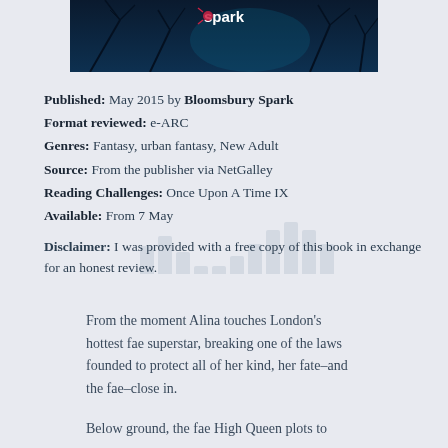[Figure (photo): Book cover image for a Bloomsbury Spark publication showing a dark forest with 'spark' text visible at top]
Published: May 2015 by Bloomsbury Spark
Format reviewed: e-ARC
Genres: Fantasy, urban fantasy, New Adult
Source: From the publisher via NetGalley
Reading Challenges: Once Upon A Time IX
Available: From 7 May
Disclaimer: I was provided with a free copy of this book in exchange for an honest review.
From the moment Alina touches London’s hottest fae superstar, breaking one of the laws founded to protect all of her kind, her fate–and the fae–close in.
Below ground, the fae High Queen plots to